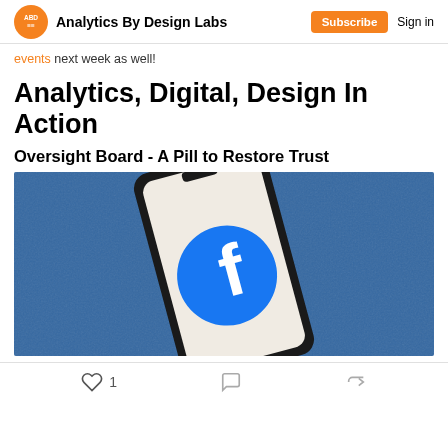Analytics By Design Labs | Subscribe | Sign in
events next week as well!
Analytics, Digital, Design In Action
Oversight Board - A Pill to Restore Trust
[Figure (photo): A smartphone with the Facebook logo on its screen, lying on a blue textured surface.]
1 like, comment icon, share icon